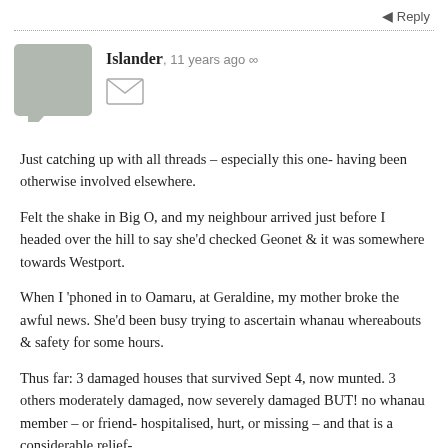Reply
[Figure (illustration): User avatar placeholder: grey speech bubble icon]
Islander, 11 years ago ∞
[Figure (illustration): Email/message envelope icon]
Just catching up with all threads – especially this one- having been otherwise involved elsewhere.
Felt the shake in Big O, and my neighbour arrived just before I headed over the hill to say she'd checked Geonet & it was somewhere towards Westport.
When I 'phoned in to Oamaru, at Geraldine, my mother broke the awful news. She'd been busy trying to ascertain whanau whereabouts & safety for some hours.
Thus far: 3 damaged houses that survived Sept 4, now munted. 3 others moderately damaged, now severely damaged BUT! no whanau member – or friend- hospitalised, hurt, or missing – and that is a considerable relief-
and, as a family, we have sufficient resources to